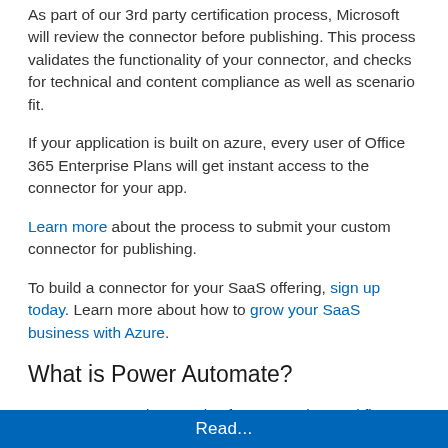As part of our 3rd party certification process, Microsoft will review the connector before publishing. This process validates the functionality of your connector, and checks for technical and content compliance as well as scenario fit.
If your application is built on azure, every user of Office 365 Enterprise Plans will get instant access to the connector for your app.
Learn more about the process to submit your custom connector for publishing.
To build a connector for your SaaS offering, sign up today. Learn more about how to grow your SaaS business with Azure.
What is Power Automate?
Power Automate is a service for automating workflow across the growing number of apps and SaaS services that business users rely on.
Read...